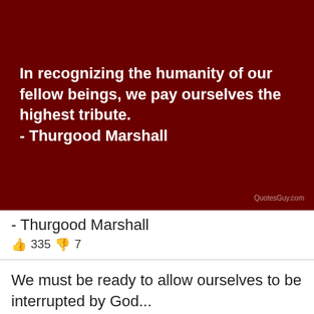[Figure (illustration): Dark red/maroon rectangular background with a quote in white bold text: 'In recognizing the humanity of our fellow beings, we pay ourselves the highest tribute. - Thurgood Marshall'. Watermark 'QuotesGuy.com' in bottom right.]
- Thurgood Marshall
335  7
We must be ready to allow ourselves to be interrupted by God...